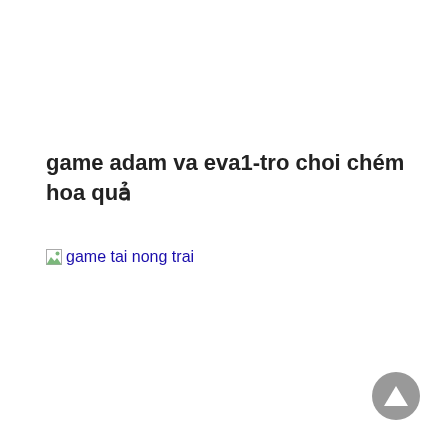game adam va eva1-tro choi chém hoa quả
[Figure (other): Broken image placeholder with link text 'game tai nong trai' in blue hyperlink style]